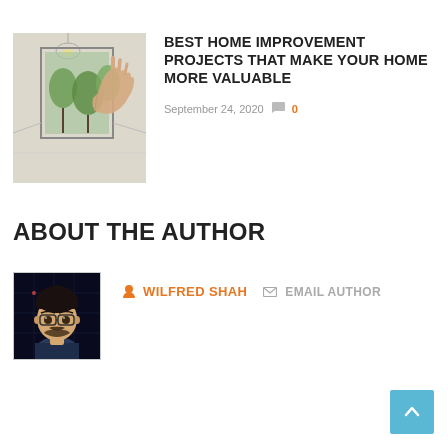[Figure (photo): Partial top edge of an article thumbnail image (cropped at top of page)]
[Figure (photo): Article thumbnail showing a hand holding up a clear panel/window revealing an architectural interior sketch with outdoor trees visible through it]
BEST HOME IMPROVEMENT PROJECTS THAT MAKE YOUR HOME MORE VALUABLE
September 24, 2020  0
ABOUT THE AUTHOR
[Figure (illustration): Avatar/cartoon image of a man with glasses and beard, depicted in an animated/emoji style against a dark tech-themed background]
WILFRED SHAH   EMAIL AUTHOR